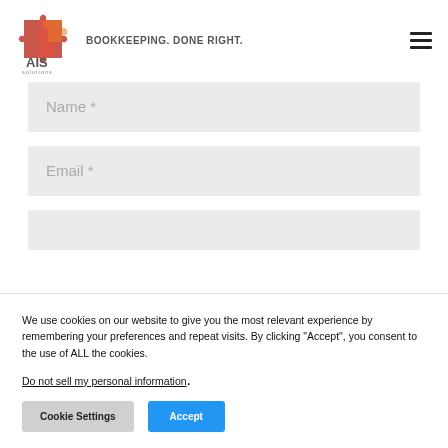[Figure (logo): AIS Solutions logo — red/orange puzzle piece icon with text 'AIS solutions' and tagline 'BOOKKEEPING. DONE RIGHT.']
Name *
Email *
We use cookies on our website to give you the most relevant experience by remembering your preferences and repeat visits. By clicking "Accept", you consent to the use of ALL the cookies.
Do not sell my personal information.
Cookie Settings
Accept